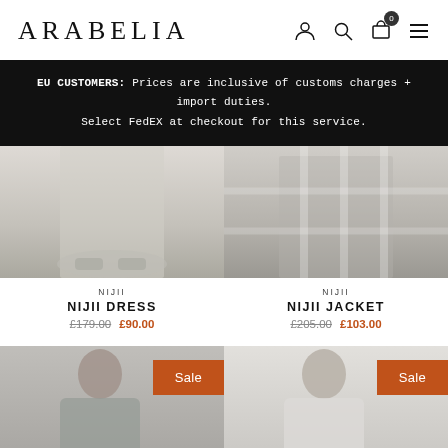ARABELIA
EU CUSTOMERS: Prices are inclusive of customs charges + import duties. Select FedEX at checkout for this service.
[Figure (photo): Product photo: lower half of model wearing a light linen dress with platform sneakers]
NIJII
NIJII DRESS
£179.00 £90.00
[Figure (photo): Product photo: model wearing a checked linen jacket and trousers]
NIJII
NIJII JACKET
£205.00 £103.00
[Figure (photo): Product photo: model in a grey top, Sale badge overlay]
[Figure (photo): Product photo: model in a white top, Sale badge overlay]